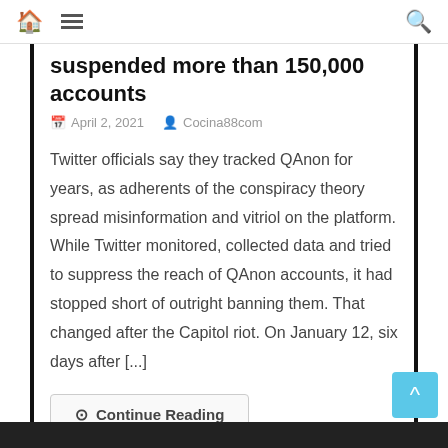Navigation bar with home icon, menu icon, and search icon
suspended more than 150,000 accounts
April 2, 2021   Cocina88com
Twitter officials say they tracked QAnon for years, as adherents of the conspiracy theory spread misinformation and vitriol on the platform. While Twitter monitored, collected data and tried to suppress the reach of QAnon accounts, it had stopped short of outright banning them. That changed after the Capitol riot. On January 12, six days after [...]
Continue Reading